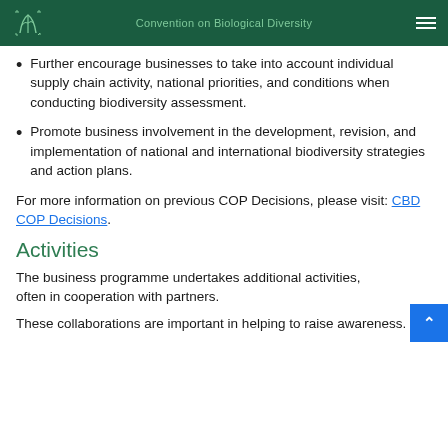Convention on Biological Diversity
Further encourage businesses to take into account individual supply chain activity, national priorities, and conditions when conducting biodiversity assessment.
Promote business involvement in the development, revision, and implementation of national and international biodiversity strategies and action plans.
For more information on previous COP Decisions, please visit: CBD COP Decisions.
Activities
The business programme undertakes additional activities, often in cooperation with partners.
These collaborations are important in helping to raise awareness.